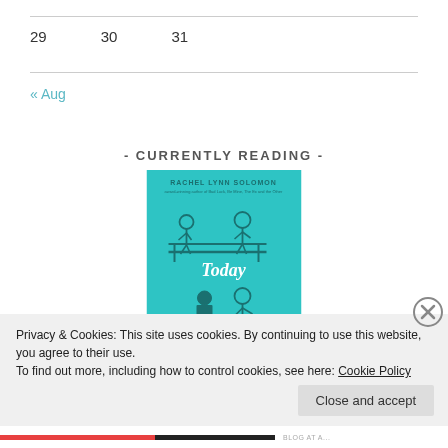| 29 | 30 | 31 |
« Aug
- CURRENTLY READING -
[Figure (illustration): Book cover for 'Today Tonight Tomorrow' by Rachel Lynn Solomon. Teal/turquoise background with illustrated figures of a man and woman sitting on a bench, shown twice — once casually apart at top and once closer together at bottom. Author name 'RACHEL LYNN SOLOMON' at top.]
Privacy & Cookies: This site uses cookies. By continuing to use this website, you agree to their use.
To find out more, including how to control cookies, see here: Cookie Policy
Close and accept